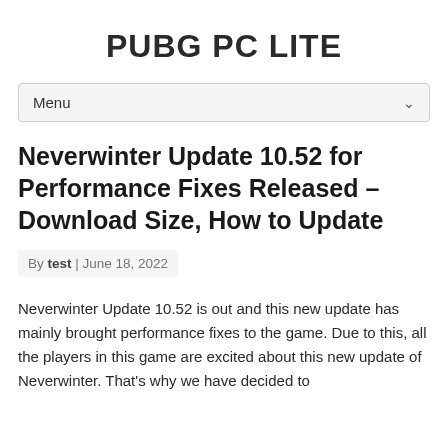PUBG PC LITE
Menu
Neverwinter Update 10.52 for Performance Fixes Released – Download Size, How to Update
By test | June 18, 2022
Neverwinter Update 10.52 is out and this new update has mainly brought performance fixes to the game. Due to this, all the players in this game are excited about this new update of Neverwinter. That's why we have decided to